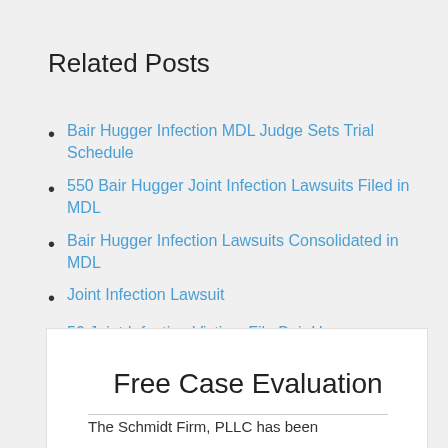Related Posts
Bair Hugger Infection MDL Judge Sets Trial Schedule
550 Bair Hugger Joint Infection Lawsuits Filed in MDL
Bair Hugger Infection Lawsuits Consolidated in MDL
Joint Infection Lawsuit
50 Joint Infection Victims File Bair Hugger Lawsuits
Free Case Evaluation
The Schmidt Firm, PLLC has been